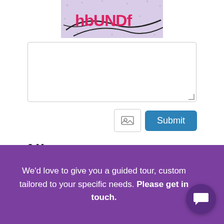[Figure (logo): hbUNDf logo on light purple/lavender background with scattered plus signs and artistic brush strokes]
[Figure (screenshot): Large empty textarea input box with resize handle]
[Figure (screenshot): Image upload button (icon) and blue Submit button]
0 Messages
[Figure (screenshot): Messages container box with partial purple call-to-action bar visible]
We'd love to give you a guided tour, custom tailored to your specific needs. Please get in touch.